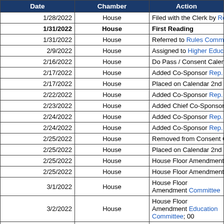| Date | Chamber | Action |
| --- | --- | --- |
| 1/28/2022 | House | Filed with the Clerk by Re... |
| 1/31/2022 | House | First Reading |
| 1/31/2022 | House | Referred to Rules Commi... |
| 2/9/2022 | House | Assigned to Higher Educa... |
| 2/16/2022 | House | Do Pass / Consent Calen... |
| 2/17/2022 | House | Added Co-Sponsor Rep. ... |
| 2/17/2022 | House | Placed on Calendar 2nd R... |
| 2/22/2022 | House | Added Co-Sponsor Rep. ... |
| 2/23/2022 | House | Added Chief Co-Sponsor... |
| 2/24/2022 | House | Added Co-Sponsor Rep. ... |
| 2/24/2022 | House | Added Co-Sponsor Rep. ... |
| 2/25/2022 | House | Removed from Consent C... |
| 2/25/2022 | House | Placed on Calendar 2nd R... |
| 2/25/2022 | House | House Floor Amendment... |
| 2/25/2022 | House | House Floor Amendment... |
| 3/1/2022 | House | House Floor Amendment... Committee |
| 3/2/2022 | House | House Floor Amendment... Education Committee; 00... |
| 3/2/2022 | House | Added Co-Sponsor Rep. ... |
| 3/2/2022 | House | Second Reading - Short... |